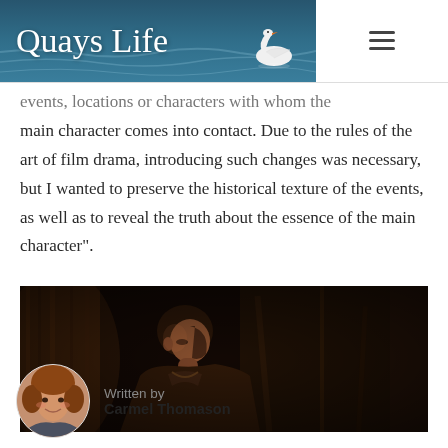Quays Life
events, locations or characters with whom the main character comes into contact. Due to the rules of the art of film drama, introducing such changes was necessary, but I wanted to preserve the historical texture of the events, as well as to reveal the truth about the essence of the main character”.
[Figure (photo): A young person in historical/period costume in a dimly lit wooden setting, looking downward. Dark, moody cinematic still from a film.]
Written by
Carmel Thomason